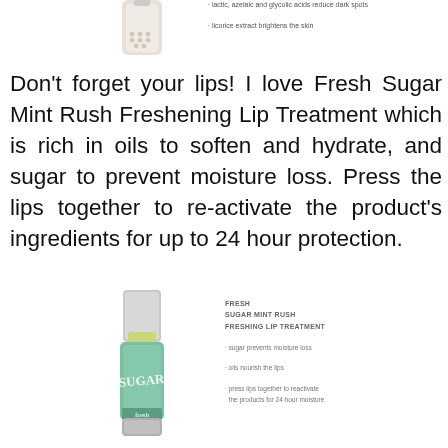[Figure (photo): Partial view of a skincare product bottle (top portion cropped) with bullet points listing: lactic, azelaic and glycolic acids reduce dark spots; licorice extract brightens the skin]
Don’t forget your lips! I love Fresh Sugar Mint Rush Freshening Lip Treatment which is rich in oils to soften and hydrate, and sugar to prevent moisture loss. Press the lips together to re-activate the product’s ingredients for up to 24 hour protection.
[Figure (photo): Fresh Sugar Mint Rush Freshening Lip Treatment product (green tube with silver cap, lip balm stick extended) with bullet points: FRESH SUGAR MINT RUSH FRESHENING LIP TREATMENT; sugar prevents moisture loss; oils nourish the lips; press lips together to reactivate the products for 24 hour moisture]